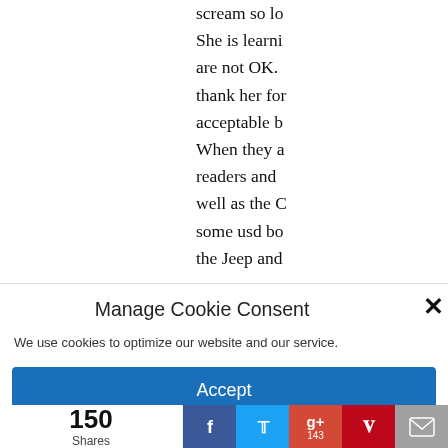scream so lo... She is learni... are not OK. ... thank her for... acceptable b... When they a... readers and ... well as the C... some usd bo... the Jeep and...
Manage Cookie Consent
We use cookies to optimize our website and our service.
Accept
150 Shares